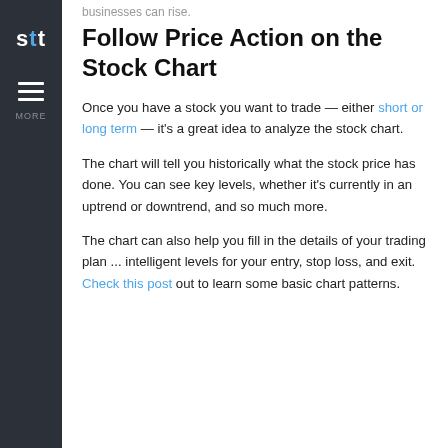businesses can rise.
Follow Price Action on the Stock Chart
Once you have a stock you want to trade — either short or long term — it's a great idea to analyze the stock chart.
The chart will tell you historically what the stock price has done. You can see key levels, whether it's currently in an uptrend or downtrend, and so much more.
The chart can also help you fill in the details of your trading plan ... intelligent levels for your entry, stop loss, and exit. Check this post out to learn some basic chart patterns.